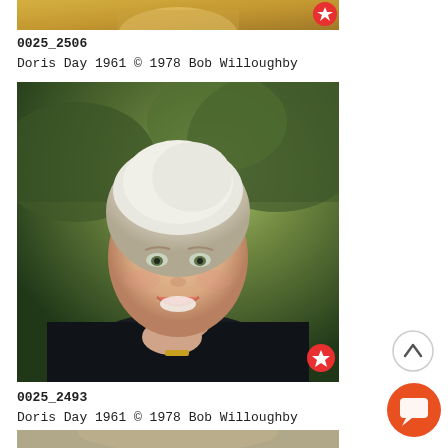[Figure (photo): Top portion of a photo showing a person in a yellow/golden top, partially cropped, with a red star badge in the upper right corner.]
0025_2506
Doris Day 1961 © 1978 Bob Willoughby
[Figure (photo): Portrait photo of Doris Day, 1961. A smiling blonde woman with her chin resting on her hand, wearing a dark sweater with a gold bracelet visible, outdoors with green trees in the background. Red star badge in lower right corner.]
0025_2493
Doris Day 1961 © 1978 Bob Willoughby
[Figure (photo): Partial view of another photo at the bottom of the page, mostly cut off.]